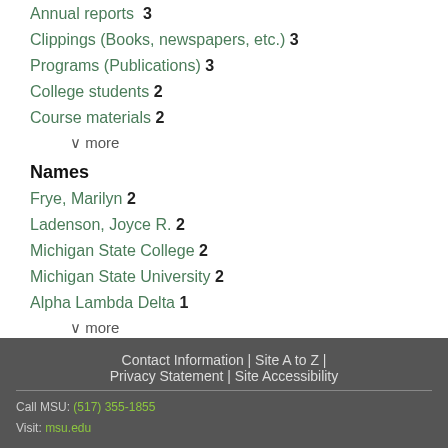Annual reports  3
Clippings (Books, newspapers, etc.)  3
Programs (Publications)  3
College students  2
Course materials  2
∨ more
Names
Frye, Marilyn  2
Ladenson, Joyce R.  2
Michigan State College  2
Michigan State University  2
Alpha Lambda Delta  1
∨ more
Contact Information | Site A to Z | Privacy Statement | Site Accessibility
Call MSU: (517) 355-1855
Visit: msu.edu